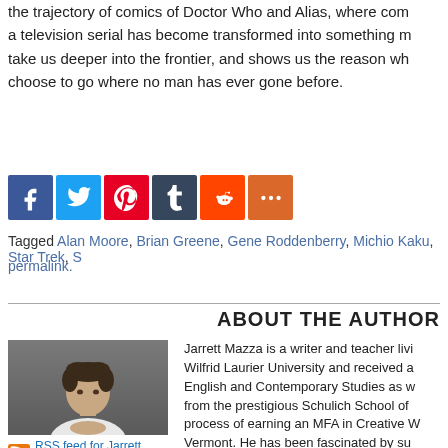the trajectory of comics of Doctor Who and Alias, where comic a television serial has become transformed into something m take us deeper into the frontier, and shows us the reason wh choose to go where no man has ever gone before.
[Figure (infographic): Social sharing buttons: Facebook (blue), Twitter (light blue), Pinterest (red), Tumblr (dark blue), Reddit (orange), More/plus (orange-red)]
Tagged Alan Moore, Brian Greene, Gene Roddenberry, Michio Kaku, Star Trek, S permalink.
ABOUT THE AUTHOR
[Figure (photo): Author photo of Jarrett Mazza, a young man with curly dark hair wearing a white shirt, hands clasped, looking at camera]
RSS feed for Jarrett Mazza
Jarrett Mazza is a writer and teacher livi Wilfrid Laurier University and received a English and Contemporary Studies as w from the prestigious Schulich School of process of earning an MFA in Creative W Vermont. He has been fascinated by su as he can remember and studied comic storytelling from industry professionals T When he is not self-publishing his own c